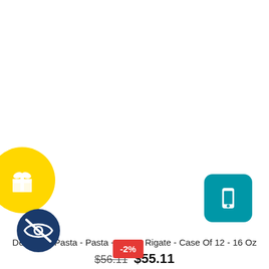[Figure (illustration): Yellow rounded badge with white gift box icon on the left side]
[Figure (illustration): Teal/dark-cyan rounded square badge with white phone/mobile icon on the right side]
De Cecco Pasta - Pasta - Penne Rigate - Case Of 12 - 16 Oz
$56.11  $55.11
[Figure (illustration): Dark blue circular badge with crossed-out eye icon (hidden/private indicator)]
-2%